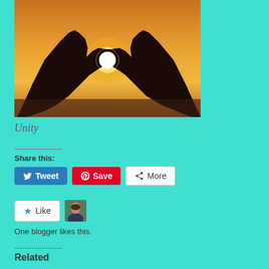[Figure (photo): Silhouette of two hands forming a heart shape against a warm orange sunset sky, with the sun visible through the heart opening]
Unity
Share this:
Tweet  Save  More
Like
One blogger likes this.
Related